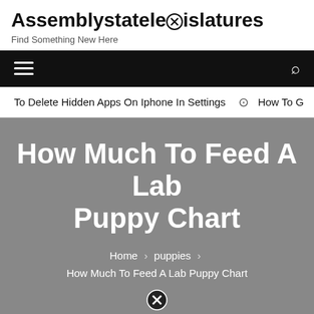Assemblystatelegislatures
Find Something New Here
Navigation bar with hamburger menu and search icon
To Delete Hidden Apps On Iphone In Settings   ➡  How To G
How Much To Feed A Lab Puppy Chart
Home > puppies > How Much To Feed A Lab Puppy Chart